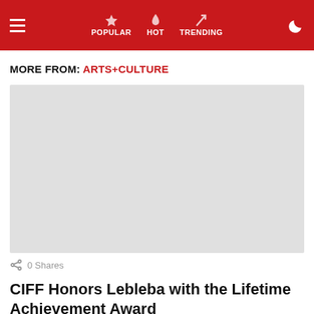≡  POPULAR  HOT  TRENDING  )
MORE FROM: ARTS+CULTURE
[Figure (photo): Large light gray placeholder image for article thumbnail]
0 Shares
CIFF Honors Lebleba with the Lifetime Achievement Award